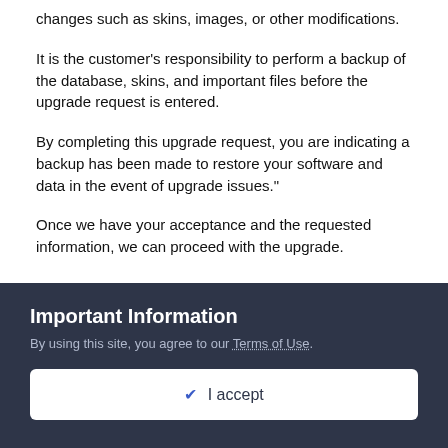changes such as skins, images, or other modifications.
It is the customer's responsibility to perform a backup of the database, skins, and important files before the upgrade request is entered.
By completing this upgrade request, you are indicating a backup has been made to restore your software and data in the event of upgrade issues."
Once we have your acceptance and the requested information, we can proceed with the upgrade.
--
Larry Walansky
Invision Power Services, Inc.
Important Information
By using this site, you agree to our Terms of Use.
✔ I accept